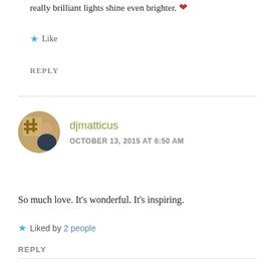really brilliant lights shine even brighter. ❤
Like
REPLY
djmatticus
OCTOBER 13, 2015 AT 6:50 AM
So much love. It's wonderful. It's inspiring.
Liked by 2 people
REPLY